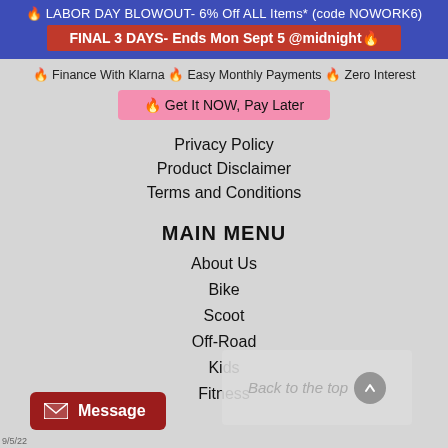🔥 LABOR DAY BLOWOUT- 6% Off ALL Items* (code NOWORK6)
FINAL 3 DAYS- Ends Mon Sept 5 @midnight🔥
🔥 Finance With Klarna 🔥 Easy Monthly Payments 🔥 Zero Interest
🔥 Get It NOW, Pay Later
Privacy Policy
Product Disclaimer
Terms and Conditions
MAIN MENU
About Us
Bike
Scoot
Off-Road
Kids
Fitness
Back to the top ↑
Message